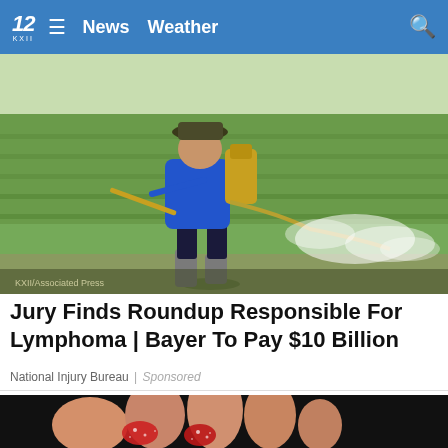12 KXII  ≡  News  Weather  🔍
[Figure (photo): A farmer wearing a blue long-sleeve shirt, dark pants, and rubber boots carrying a backpack pesticide sprayer, spraying herbicide on a green rice paddy field]
Jury Finds Roundup Responsible For Lymphoma | Bayer To Pay $10 Billion
National Injury Bureau | Sponsored
[Figure (photo): Close-up of toes with sugary red gummy candy pieces between them on a dark background]